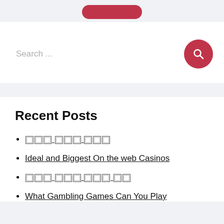[Figure (other): Partial red rounded button visible at top]
[Figure (other): Search bar with placeholder text 'Search ...' and a red circular search button with magnifying glass icon]
Recent Posts
[unrenderable text] [unrenderable text] [unrenderable text]
Ideal and Biggest On the web Casinos
[unrenderable text] [unrenderable text] [unrenderable text] [unrenderable text]
What Gambling Games Can You Play Online?